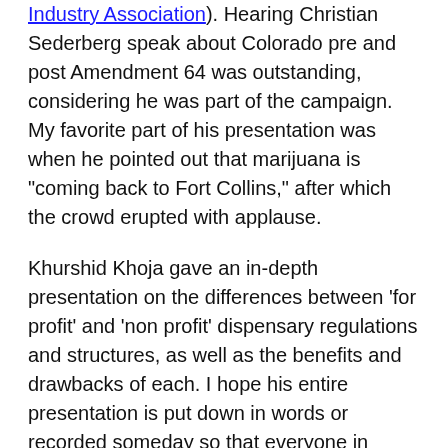Industry Association). Hearing Christian Sederberg speak about Colorado pre and post Amendment 64 was outstanding, considering he was part of the campaign. My favorite part of his presentation was when he pointed out that marijuana is "coming back to Fort Collins," after which the crowd erupted with applause.
Khurshid Khoja gave an in-depth presentation on the differences between 'for profit' and 'non profit' dispensary regulations and structures, as well as the benefits and drawbacks of each. I hope his entire presentation is put down in words or recorded someday so that everyone in medical marijuana states can see it. The differences are significant, and I know for a fact that many dispensary owners have no idea what those differences are, which is sad, because knowing